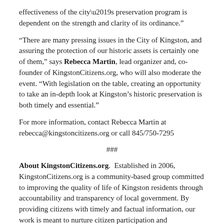effectiveness of the city’s preservation program is dependent on the strength and clarity of its ordinance.”
“There are many pressing issues in the City of Kingston, and assuring the protection of our historic assets is certainly one of them,” says Rebecca Martin, lead organizer and, co-founder of KingstonCitizens.org, who will also moderate the event. “With legislation on the table, creating an opportunity to take an in-depth look at Kingston’s historic preservation is both timely and essential.”
For more information, contact Rebecca Martin at rebecca@kingstoncitizens.org or call 845/750-7295
###
About KingstonCitizens.org. Established in 2006, KingstonCitizens.org is a community-based group committed to improving the quality of life of Kingston residents through accountability and transparency of local government. By providing citizens with timely and factual information, our work is meant to nurture citizen participation and empowerment through projects, education, and advocacy.